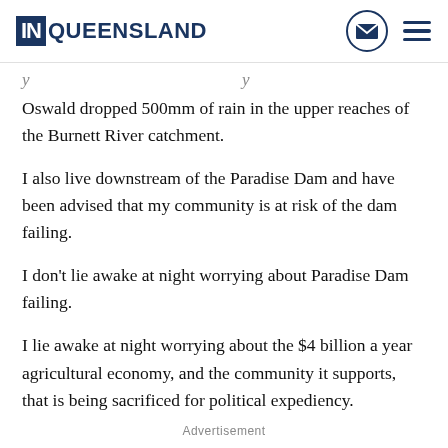InQueensland
Oswald dropped 500mm of rain in the upper reaches of the Burnett River catchment.
I also live downstream of the Paradise Dam and have been advised that my community is at risk of the dam failing.
I don't lie awake at night worrying about Paradise Dam failing.
I lie awake at night worrying about the $4 billion a year agricultural economy, and the community it supports, that is being sacrificed for political expediency.
Advertisement